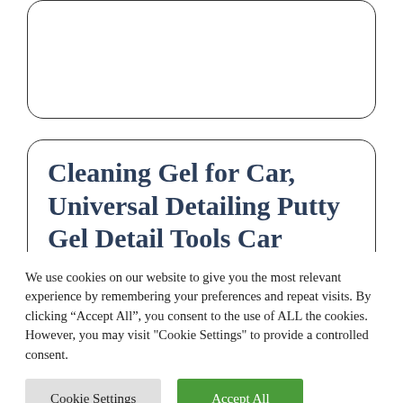[Figure (screenshot): Partial rounded card UI element at the top of the page, cropped]
Cleaning Gel for Car, Universal Detailing Putty Gel Detail Tools Car Interior Cleaner, Removal Putty
We use cookies on our website to give you the most relevant experience by remembering your preferences and repeat visits. By clicking "Accept All", you consent to the use of ALL the cookies. However, you may visit "Cookie Settings" to provide a controlled consent.
Cookie Settings | Accept All